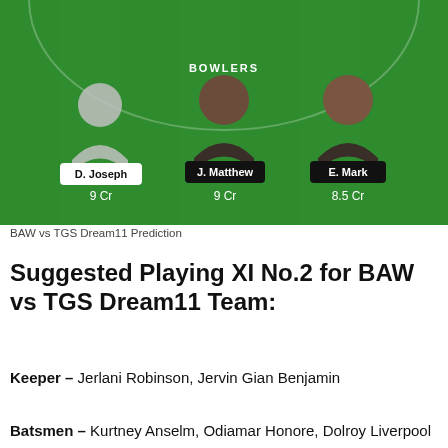[Figure (infographic): Cricket fantasy team lineup graphic on a green pitch background showing BOWLERS section with three players: D. Joseph (9 Cr), J. Matthew (9 Cr), E. Mark (8.5 Cr)]
BAW vs TGS Dream11 Prediction
Suggested Playing XI No.2 for BAW vs TGS Dream11 Team:
Keeper – Jerlani Robinson, Jervin Gian Benjamin
Batsmen – Kurtney Anselm, Odiamar Honore, Dolroy Liverpool